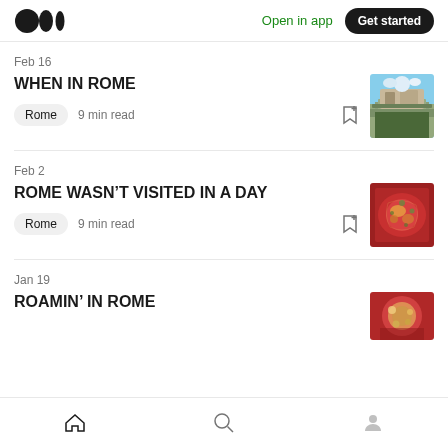Medium logo | Open in app | Get started
Feb 16
WHEN IN ROME
Rome  9 min read
[Figure (photo): Outdoor photo of Rome cityscape near the Tiber river with bridge and buildings]
Feb 2
ROME WASN’T VISITED IN A DAY
Rome  9 min read
[Figure (photo): Close-up photo of a pizza or pasta dish with herbs on red sauce]
Jan 19
ROAMIN’ IN ROME
[Figure (photo): Photo of a pizza with toppings, partially cropped]
Home | Search | Profile